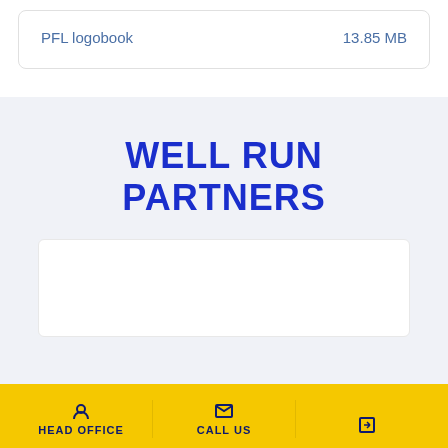PFL logobook    13.85 MB
WELL RUN PARTNERS
[Figure (other): White card placeholder area]
HEAD OFFICE    CALL US